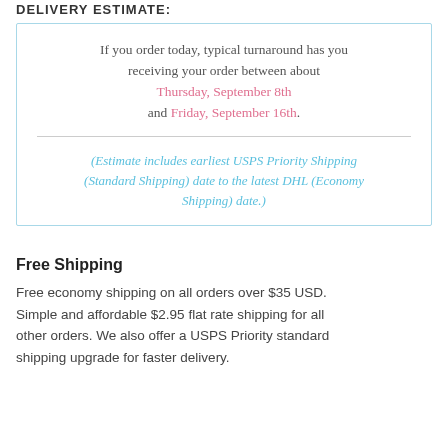DELIVERY ESTIMATE:
If you order today, typical turnaround has you receiving your order between about Thursday, September 8th and Friday, September 16th.
(Estimate includes earliest USPS Priority Shipping (Standard Shipping) date to the latest DHL (Economy Shipping) date.)
Free Shipping
Free economy shipping on all orders over $35 USD. Simple and affordable $2.95 flat rate shipping for all other orders. We also offer a USPS Priority standard shipping upgrade for faster delivery.